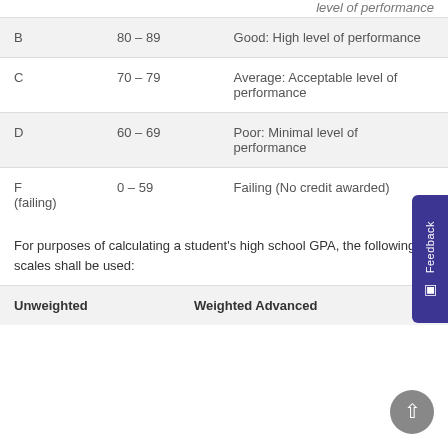| Grade | Score Range | Description |
| --- | --- | --- |
| B | 80 – 89 | Good: High level of performance |
| C | 70 – 79 | Average: Acceptable level of performance |
| D | 60 – 69 | Poor: Minimal level of performance |
| F
(failing) | 0 – 59 | Failing (No credit awarded) |
For purposes of calculating a student's high school GPA, the following scales shall be used:
| Unweighted | Weighted Advanced |
| --- | --- |